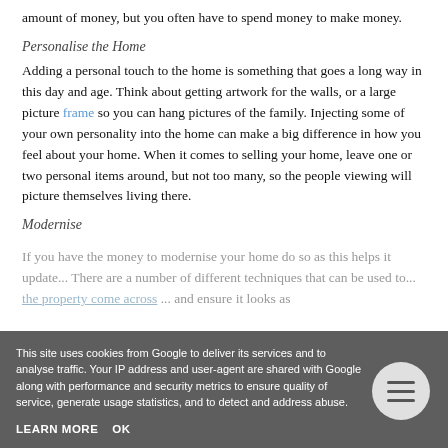amount of money, but you often have to spend money to make money.
Personalise the Home
Adding a personal touch to the home is something that goes a long way in this day and age. Think about getting artwork for the walls, or a large picture frame so you can hang pictures of the family. Injecting some of your own personality into the home can make a big difference in how you feel about your home. When it comes to selling your home, leave one or two personal items around, but not too many, so the people viewing will picture themselves living there.
Modernise
If you have the money to modernise your home do so as this helps it... There are a number of different techniques that can be used to ... the property come across ... and ensure it looks as ...
This site uses cookies from Google to deliver its services and to analyse traffic. Your IP address and user-agent are shared with Google along with performance and security metrics to ensure quality of service, generate usage statistics, and to detect and address abuse.